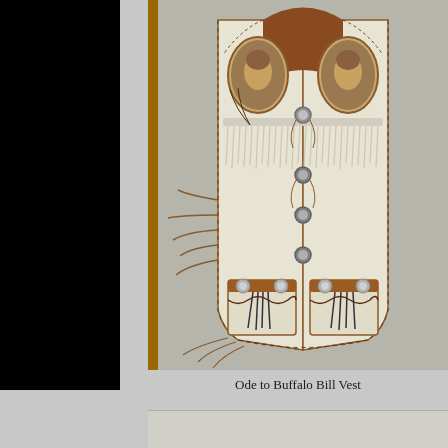[Figure (photo): A decorative leather vest displayed against a grey background. The vest is cream/white colored with brown leather trim and lacing. It features: two oval portrait medallions on the upper chest, silver/white fringe across the chest area, ornamental silver concho buttons down the front center, brown leather side ties/fringe, two front pockets at the bottom with dark tassel decorations and silver conchos. The vest has whipstitch edging throughout. A golden-brown background frame surrounds the photo.]
Ode to Buffalo Bill Vest